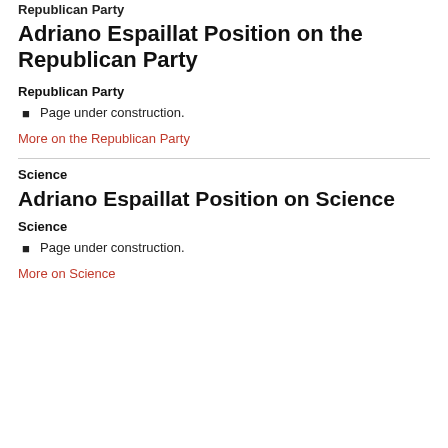Republican Party
Adriano Espaillat Position on the Republican Party
Republican Party
Page under construction.
More on the Republican Party
Science
Adriano Espaillat Position on Science
Science
Page under construction.
More on Science